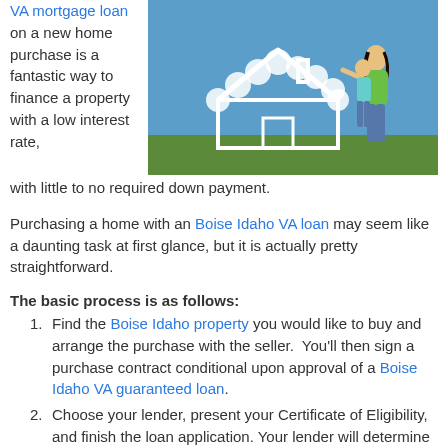VA mortgage loan on a new home purchase is a fantastic way to finance a property with a low interest rate, with little to no required down payment.
[Figure (photo): Photo of a couple standing on grass outdoors. Behind them is a cloud shaped like a house outline against a blue sky. The woman is pointing at the cloud house.]
Purchasing a home with an Boise Idaho VA loan may seem like a daunting task at first glance, but it is actually pretty straightforward.
The basic process is as follows:
Find the Boise Idaho property you would like to buy and arrange the purchase with the seller.  You'll then sign a purchase contract conditional upon approval of a Boise Idaho VA guaranteed loan.
Choose your lender, present your Certificate of Eligibility, and finish the loan application. Your lender will determine